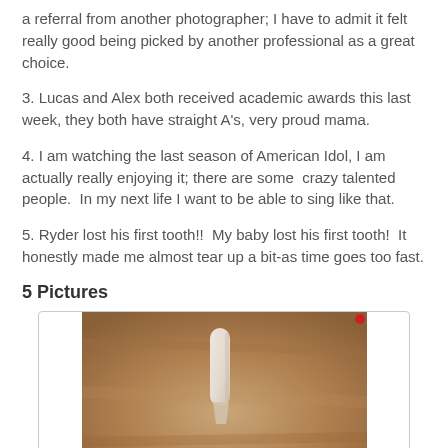a referral from another photographer; I have to admit it felt really good being picked by another professional as a great choice.
3. Lucas and Alex both received academic awards this last week, they both have straight A's, very proud mama.
4. I am watching the last season of American Idol, I am actually really enjoying it; there are some  crazy talented people.  In my next life I want to be able to sing like that.
5. Ryder lost his first tooth!!  My baby lost his first tooth!  It honestly made me almost tear up a bit-as time goes too fast.
5 Pictures
[Figure (photo): A close-up photo of a small tooth held by tweezers or fingers against a brown/tan background, with a small red dot visible in the upper right corner of the image.]